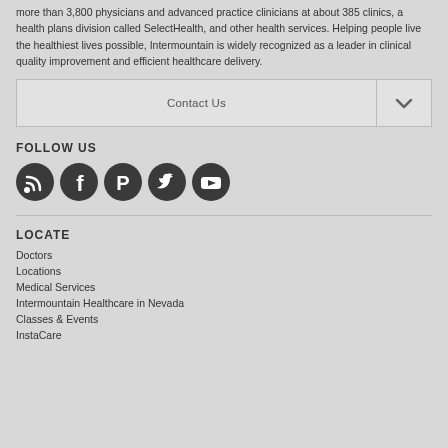more than 3,800 physicians and advanced practice clinicians at about 385 clinics, a health plans division called SelectHealth, and other health services. Helping people live the healthiest lives possible, Intermountain is widely recognized as a leader in clinical quality improvement and efficient healthcare delivery.
Contact Us
FOLLOW US
[Figure (infographic): Five social media icons: RSS/Blog, Facebook, Pinterest, Twitter, YouTube — dark circular buttons in a row]
LOCATE
Doctors
Locations
Medical Services
Intermountain Healthcare in Nevada
Classes & Events
InstaCare